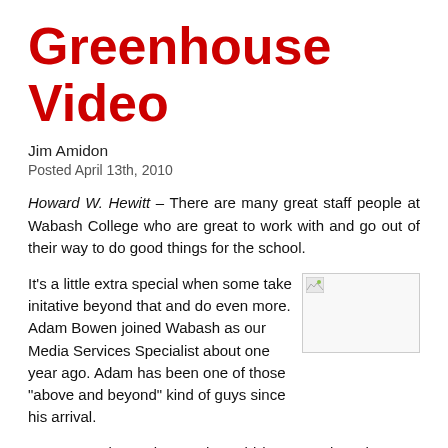Greenhouse Video
Jim Amidon
Posted April 13th, 2010
Howard W. Hewitt – There are many great staff people at Wabash College who are great to work with and go out of their way to do good things for the school.
It's a little extra special when some take initative beyond that and do even more. Adam Bowen joined Wabash as our Media Services Specialist about one year ago. Adam has been one of those "above and beyond" kind of guys since his arrival.
[Figure (photo): Small image placeholder with broken image icon in top-left corner]
Just a couple weeks ago he said he wanted to show me something. He was working on a video showing off the greenhouse in Hays Hall. He just thought we needed one because there was no representation on the website and